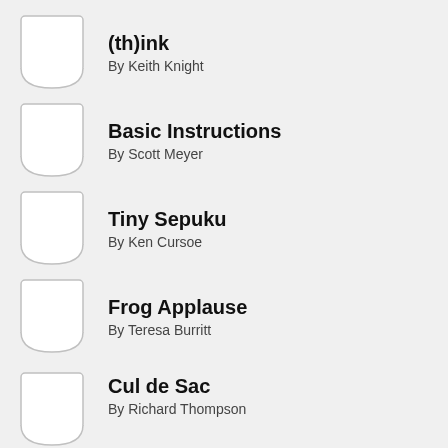(th)ink
By Keith Knight
Basic Instructions
By Scott Meyer
Tiny Sepuku
By Ken Cursoe
Frog Applause
By Teresa Burritt
Cul de Sac
By Richard Thompson